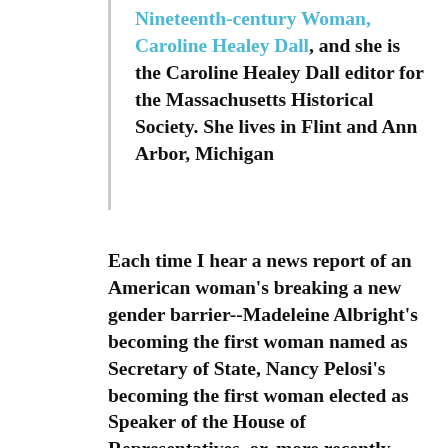Nineteenth-century Woman, Caroline Healey Dall, and she is the Caroline Healey Dall editor for the Massachusetts Historical Society. She lives in Flint and Ann Arbor, Michigan
Each time I hear a news report of an American woman's breaking a new gender barrier--Madeleine Albright's becoming the first woman named as Secretary of State, Nancy Pelosi's becoming the first woman elected as Speaker of the House of Representatives, or, more recently, Hillary Rodham Clinton's coming to be the first